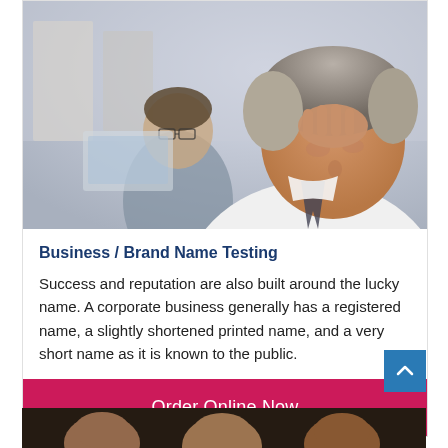[Figure (photo): A stressed middle-aged man with grey hair holding his hand to his head, looking down. In the background, a younger man with glasses sits at a computer. Office setting.]
Business / Brand Name Testing
Success and reputation are also built around the lucky name. A corporate business generally has a registered name, a slightly shortened printed name, and a very short name as it is known to the public.
Order Online Now
[Figure (photo): Partial view of people at the bottom of the page, cropped.]